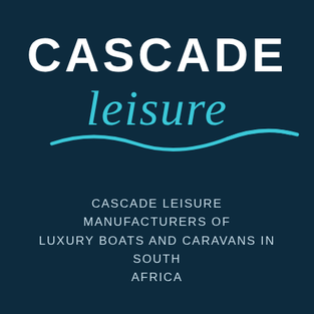[Figure (logo): Cascade Leisure logo with stylized 'CASCADE' in bold white uppercase letters and 'leisure' in teal cursive script below, with a decorative teal wave/underline element]
CASCADE LEISURE MANUFACTURERS OF LUXURY BOATS AND CARAVANS IN SOUTH AFRICA
[Figure (illustration): Decorative cursive teal text reading 'about us' in handwritten script style]